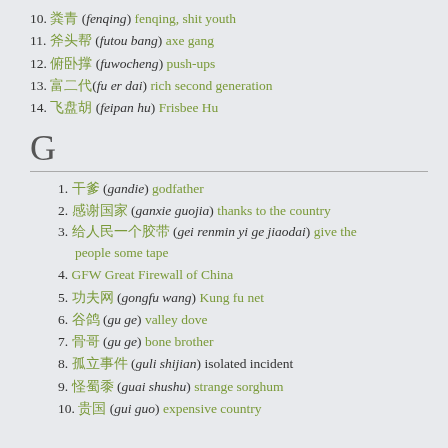10. 粪青 (fenqing) fenqing, shit youth
11. 斧头帮 (futou bang) axe gang
12. 俯卧撑 (fuwocheng) push-ups
13. 富二代(fu er dai) rich second generation
14. 飞盘胡 (feipan hu) Frisbee Hu
G
1. 干爹 (gandie) godfather
2. 感谢国家 (ganxie guojia) thanks to the country
3. 给人民一个胶带 (gei renmin yi ge jiaodai) give the people some tape
4. GFW Great Firewall of China
5. 功夫网 (gongfu wang) Kung fu net
6. 谷鸽 (gu ge) valley dove
7. 骨哥 (gu ge) bone brother
8. 孤立事件 (guli shijian) isolated incident
9. 怪蜀黍 (guai shushu) strange sorghum
10. 贵国 (gui guo) expensive country